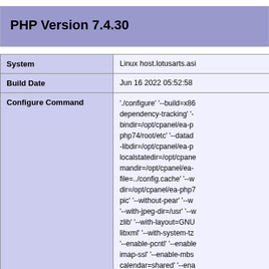PHP Version 7.4.30
|  |  |
| --- | --- |
| System | Linux host.lotusarts.asi |
| Build Date | Jun 16 2022 05:52:58 |
| Configure Command | './configure' '--build=x86 dependency-tracking' '-- bindir=/opt/cpanel/ea-p php74/root/etc' '--datad -libdir=/opt/cpanel/ea-p localstatedir=/opt/cpane mandir=/opt/cpanel/ea- file=../config.cache' '--w dir=/opt/cpanel/ea-php7 pic' '--without-pear' '--w '--with-jpeg-dir=/usr' '--w zlib' '--with-layout=GNU libxml' '--with-system-tz '--enable-pcntl' '--enable imap-ssl' '--enable-mbs calendar=shared' '--ena with-db4=/usr' '--with-tc iconv=shared' '--enable with-ldap-sasl' '--enable sock=/var/lib/mysql/mys xml=shared' '--with-snm |